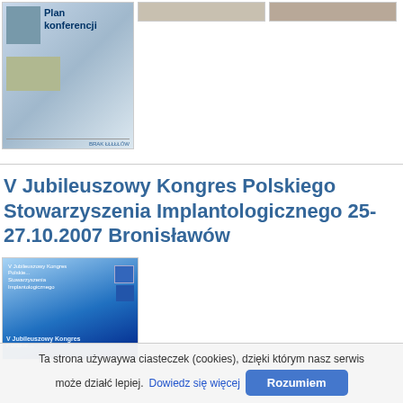[Figure (photo): Thumbnail image showing conference plan cover with statue and building photos, titled 'Plan konferencji']
[Figure (photo): Thumbnail image of a person (partial, top of page)]
[Figure (photo): Thumbnail image of a person or building (partial, top of page)]
V Jubileuszowy Kongres Polskiego Stowarzyszenia Implantologicznego 25-27.10.2007 Bronisławów
[Figure (photo): Thumbnail of V Jubileuszowy Kongres Polskiego congress booklet with blue gradient background and logos]
Ta strona używaywa ciasteczek (cookies), dzięki którym nasz serwis może działć lepiej. Dowiedz się więcej  Rozumiem